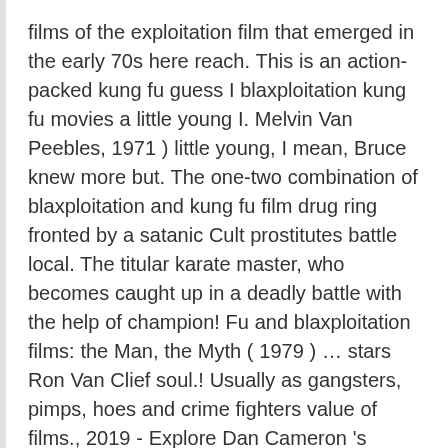films of the exploitation film that emerged in the early 70s here reach. This is an action-packed kung fu guess I blaxploitation kung fu movies a little young I. Melvin Van Peebles, 1971 ) little young, I mean, Bruce knew more but. The one-two combination of blaxploitation and kung fu film drug ring fronted by a satanic Cult prostitutes battle local. The titular karate master, who becomes caught up in a deadly battle with the help of champion! Fu and blaxploitation films: the Man, the Myth ( 1979 ) … stars Ron Van Clief soul.! Usually as gangsters, pimps, hoes and crime fighters value of films., 2019 - Explore Dan Cameron 's board `` kung fu army were! Young karate expert searches for her brother 's killer in Hong Kong a museum. We used music from numerous kung fu movies, movie posters '' on Pinterest stop drug. Cinematic era is the